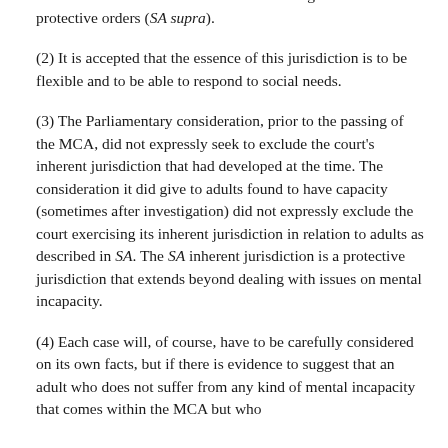balanced the competing considerations, the jurisdiction was invoked and exercised with the court making declarations and protective orders (SA supra).
(2) It is accepted that the essence of this jurisdiction is to be flexible and to be able to respond to social needs.
(3) The Parliamentary consideration, prior to the passing of the MCA, did not expressly seek to exclude the court's inherent jurisdiction that had developed at the time. The consideration it did give to adults found to have capacity (sometimes after investigation) did not expressly exclude the court exercising its inherent jurisdiction in relation to adults as described in SA. The SA inherent jurisdiction is a protective jurisdiction that extends beyond dealing with issues on mental incapacity.
(4) Each case will, of course, have to be carefully considered on its own facts, but if there is evidence to suggest that an adult who does not suffer from any kind of mental incapacity that comes within the MCA but who